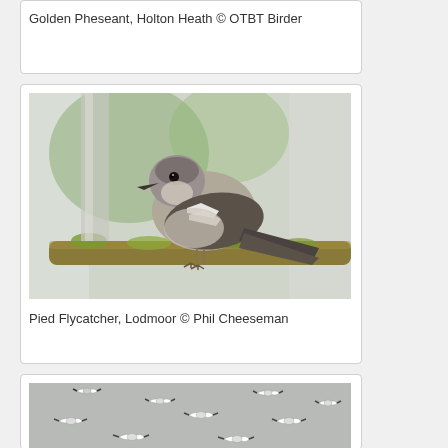Golden Pheseant, Holton Heath © OTBT Birder
[Figure (photo): Pied Flycatcher bird perched on a moss-covered branch, Lodmoor]
Pied Flycatcher, Lodmoor © Phil Cheeseman
[Figure (photo): Flock of white birds in flight against a grey sky]